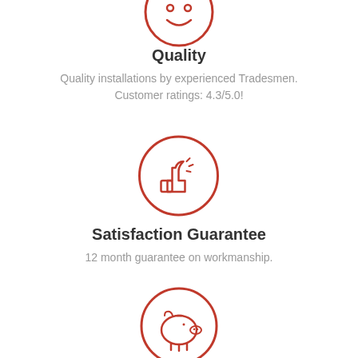[Figure (illustration): Red circle with thumbs up icon (partially visible at top)]
Quality
Quality installations by experienced Tradesmen. Customer ratings: 4.3/5.0!
[Figure (illustration): Red circle with thumbs up icon]
Satisfaction Guarantee
12 month guarantee on workmanship.
[Figure (illustration): Red circle with piggy bank icon]
Price
Competitive prices and great value for money.